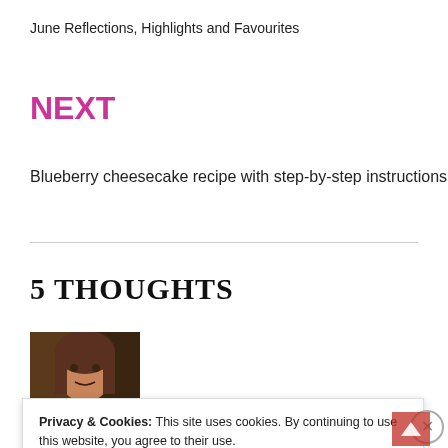June Reflections, Highlights and Favourites
NEXT
Blueberry cheesecake recipe with step-by-step instructions
5 THOUGHTS
[Figure (photo): Profile photo of a person with brown hair]
Privacy & Cookies: This site uses cookies. By continuing to use this website, you agree to their use.
To find out more, including how to control cookies, see here:
Cookie Policy
CLOSE AND ACCEPT